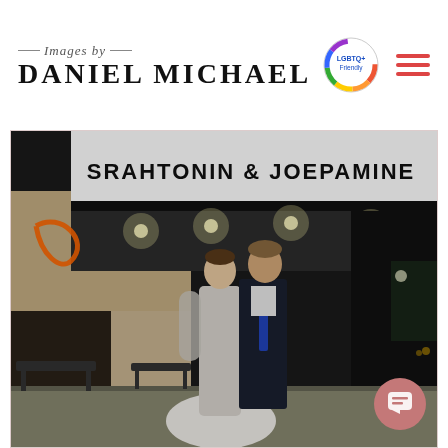Images by DANIEL MICHAEL — photography studio header with LGBTQ+ Friendly badge and hamburger menu
[Figure (photo): Wedding couple posing at night in front of a venue marquee sign reading 'SRAHTONIN & JOEPAMINE'. The bride is in a white lace gown and the groom is in a dark suit with a blue tie.]